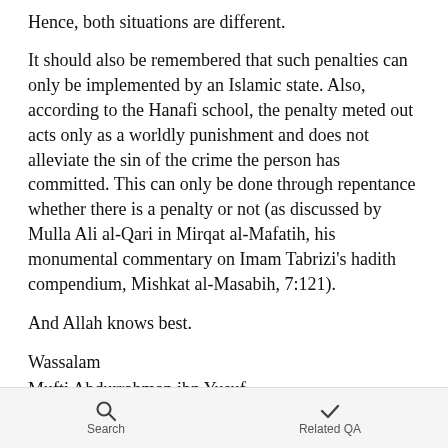Hence, both situations are different.
It should also be remembered that such penalties can only be implemented by an Islamic state. Also, according to the Hanafi school, the penalty meted out acts only as a worldly punishment and does not alleviate the sin of the crime the person has committed. This can only be done through repentance whether there is a penalty or not (as discussed by Mulla Ali al-Qari in Mirqat al-Mafatih, his monumental commentary on Imam Tabrizi's hadith compendium, Mishkat al-Masabih, 7:121).
And Allah knows best.
Wassalam
Mufti Abdurrahman ibn Yusuf
Search   Related QA